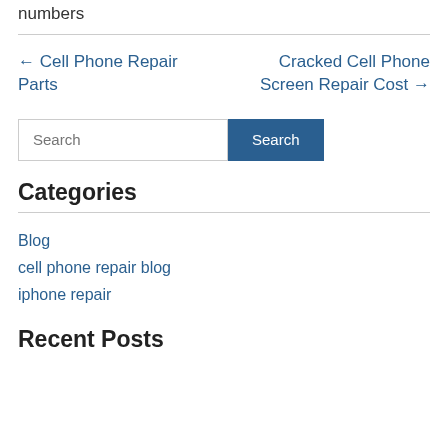numbers
← Cell Phone Repair Parts
Cracked Cell Phone Screen Repair Cost →
Search
Categories
Blog
cell phone repair blog
iphone repair
Recent Posts